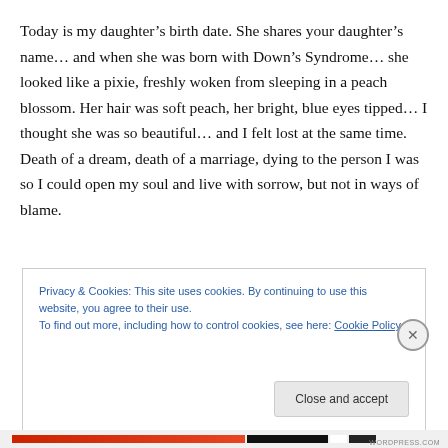Today is my daughter's birth date. She shares your daughter's name… and when she was born with Down's Syndrome… she looked like a pixie, freshly woken from sleeping in a peach blossom. Her hair was soft peach, her bright, blue eyes tipped… I thought she was so beautiful… and I felt lost at the same time. Death of a dream, death of a marriage, dying to the person I was so I could open my soul and live with sorrow, but not in ways of blame.
Privacy & Cookies: This site uses cookies. By continuing to use this website, you agree to their use.
To find out more, including how to control cookies, see here: Cookie Policy